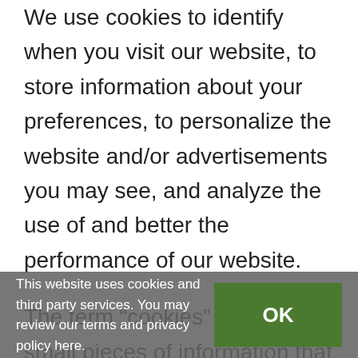We use cookies to identify when you visit our website, to store information about your preferences, to personalize the website and/or advertisements you may see, and analyze the use of and better the performance of our website.

The term “cookies” refers to small pieces of information that a website sends to your computer’s hard drive while you are viewing the Site. We may use both session cookies (your browser) and persistent cookies (which sta computer until you delete them). You have the
This website uses cookies and third party services. You may review our terms and privacy policy here.